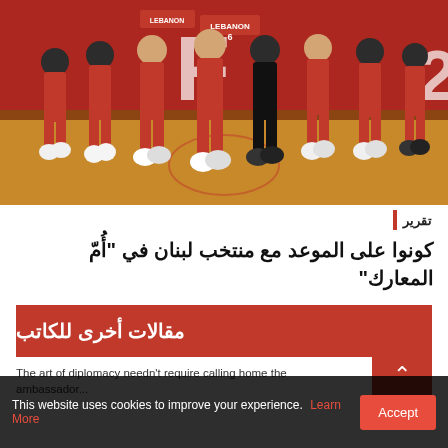[Figure (photo): Lebanon basketball team players in red uniforms celebrating on the court, group of players walking/running together]
تقرير
كونوا على الموعد مع منتخب لبنان في "أُمّ المعارك"
مقالات أخرى للكاتب
The art of diplomacy needn't require calling home the ambassador...
This website uses cookies to improve your experience. Learn More
Accept